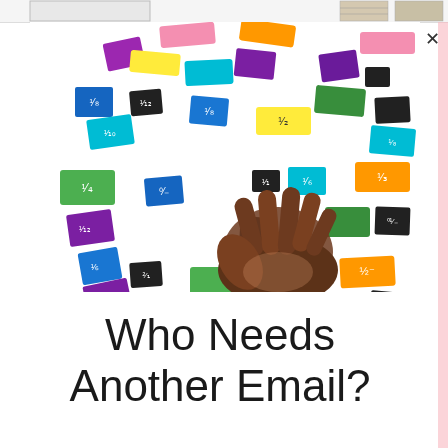[Figure (photo): Screenshot of a website or app showing a main photo of a child's hand holding a small black fraction tile among many colorful fraction tiles scattered on a white surface. Above the main image is a strip of thumbnail images.]
Who Needs Another Email?